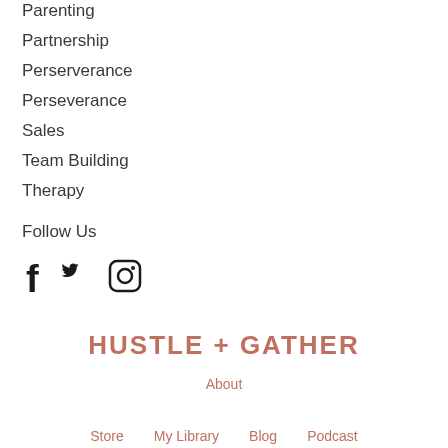Parenting
Partnership
Perserverance
Perseverance
Sales
Team Building
Therapy
Follow Us
[Figure (illustration): Social media icons: Facebook, Twitter, Instagram]
HUSTLE + GATHER
About
Store   My Library   Blog   Podcast